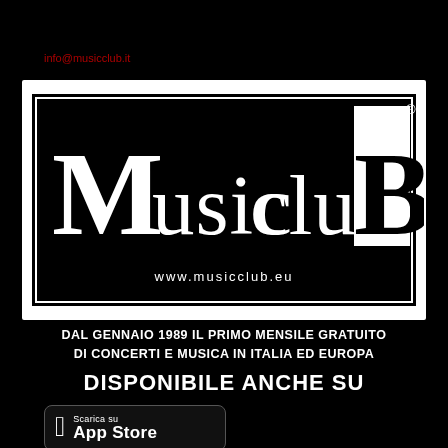info@musicclub.it
[Figure (logo): Music cluB logo with www.musicclub.eu, black and white design with serif lettering]
DAL GENNAIO 1989 IL PRIMO MENSILE GRATUITO DI CONCERTI E MUSICA IN ITALIA ED EUROPA
DISPONIBILE ANCHE SU
[Figure (logo): App Store download button - Scarica su App Store]